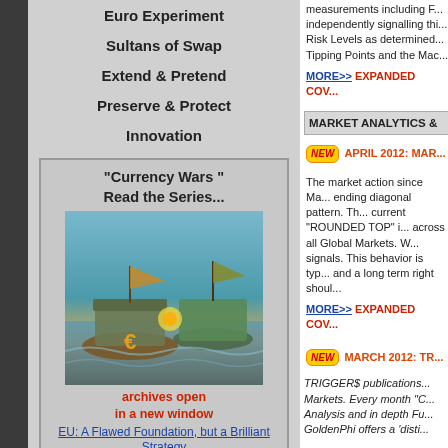Euro Experiment
Sultans of Swap
Extend & Pretend
Preserve & Protect
Innovation
"Currency Wars " Read the Series...
[Figure (illustration): Illustration of ships and Euro currency symbol in a fantastical sea battle scene for Currency Wars series]
archives open in a new window
EU: A Flawed Foundation, but a Brilliant Strategy
The Economic Death Spiral Has Been Triggered
measurements including F... independently signalling th... Risk Levels as determined... Tipping Points and the Mac...
MORE>> EXPANDED COV...
MARKET ANALYTICS &
APRIL 2012: MAR...
The market action since Ma... ending diagonal pattern. Th... current "ROUNDED TOP" i... across all Global Markets. W... signals. This behavior is typ... and a long term right shoul...
MORE>> EXPANDED COV...
MARCH 2012: TR...
TRIGGER$ publications... Markets. Every month "C... Analysis and in depth Fu... GoldenPhi offers a 'disti...